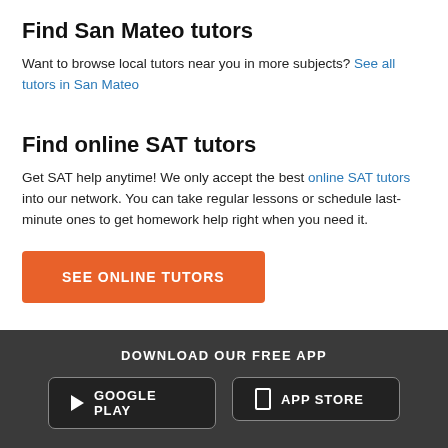Find San Mateo tutors
Want to browse local tutors near you in more subjects? See all tutors in San Mateo
Find online SAT tutors
Get SAT help anytime! We only accept the best online SAT tutors into our network. You can take regular lessons or schedule last-minute ones to get homework help right when you need it.
SEE ONLINE TUTORS
DOWNLOAD OUR FREE APP
GOOGLE PLAY
APP STORE